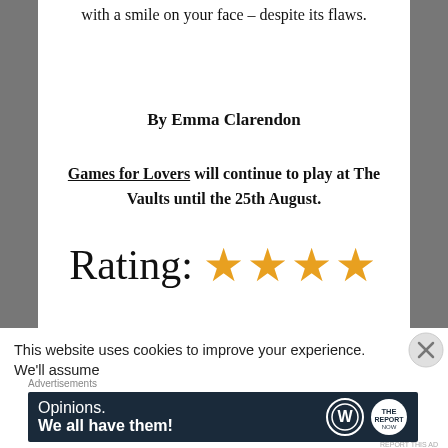with a smile on your face – despite its flaws.
By Emma Clarendon
Games for Lovers will continue to play at The Vaults until the 25th August.
Rating: ★★★★
This website uses cookies to improve your experience. We'll assume
Advertisements
[Figure (other): Advertisement banner with dark navy background showing 'Opinions. We all have them!' with WordPress and report logos]